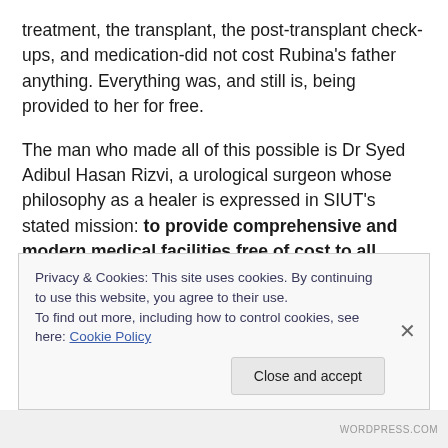treatment, the transplant, the post-transplant check-ups, and medication-did not cost Rubina's father anything. Everything was, and still is, being provided to her for free.
The man who made all of this possible is Dr Syed Adibul Hasan Rizvi, a urological surgeon whose philosophy as a healer is expressed in SIUT's stated mission: to provide comprehensive and modern medical facilities free of cost to all patients. Rizvi believes that health care is the birth right of every man, woman, and child, irrespective of cost. Treatment should not be denied to a person because
Privacy & Cookies: This site uses cookies. By continuing to use this website, you agree to their use.
To find out more, including how to control cookies, see here: Cookie Policy